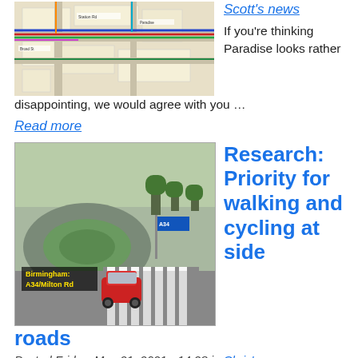[Figure (map): Aerial/plan view map showing road layout with colored lines indicating routes, Birmingham area]
Scott's news
If you're thinking Paradise looks rather disappointing, we would agree with you …
Read more
[Figure (photo): Photo of a roundabout/junction in Birmingham: A34/Milton Rd, showing a red car crossing a zebra crossing]
Research: Priority for walking and cycling at side roads
Posted Friday, May 21, 2021 - 14:28 in Chris's news
Jonathan Flower, at the Centre for Transport and Society at UWE, Bristol, is researching the impact of different designs of cross…